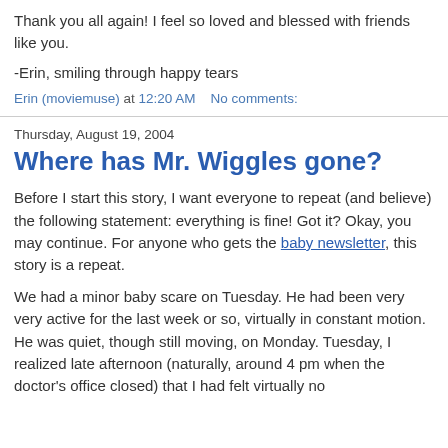Thank you all again! I feel so loved and blessed with friends like you.

-Erin, smiling through happy tears
Erin (moviemuse) at 12:20 AM   No comments:
Thursday, August 19, 2004
Where has Mr. Wiggles gone?
Before I start this story, I want everyone to repeat (and believe) the following statement: everything is fine! Got it? Okay, you may continue. For anyone who gets the baby newsletter, this story is a repeat.
We had a minor baby scare on Tuesday. He had been very very active for the last week or so, virtually in constant motion. He was quiet, though still moving, on Monday. Tuesday, I realized late afternoon (naturally, around 4 pm when the doctor's office closed) that I had felt virtually no